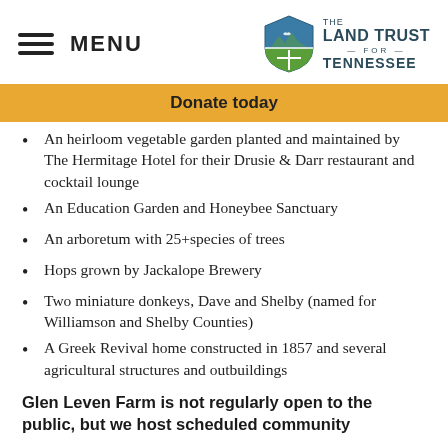MENU | THE LAND TRUST FOR TENNESSEE
Donate today
An heirloom vegetable garden planted and maintained by The Hermitage Hotel for their Drusie & Darr restaurant and cocktail lounge
An Education Garden and Honeybee Sanctuary
An arboretum with 25+species of trees
Hops grown by Jackalope Brewery
Two miniature donkeys, Dave and Shelby (named for Williamson and Shelby Counties)
A Greek Revival home constructed in 1857 and several agricultural structures and outbuildings
Glen Leven Farm is not regularly open to the public, but we host scheduled community